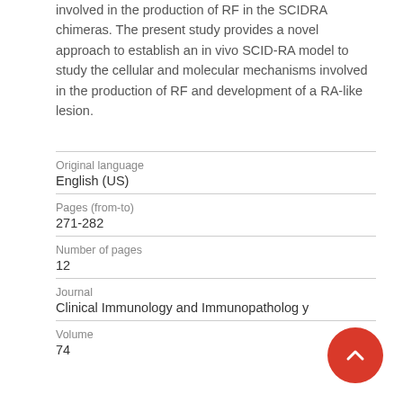involved in the production of RF in the SCIDRA chimeras. The present study provides a novel approach to establish an in vivo SCID-RA model to study the cellular and molecular mechanisms involved in the production of RF and development of a RA-like lesion.
| Original language | English (US) |
| Pages (from-to) | 271-282 |
| Number of pages | 12 |
| Journal | Clinical Immunology and Immunopathology |
| Volume | 74 |